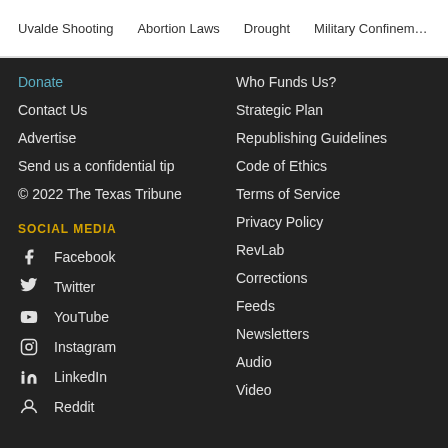Uvalde Shooting   Abortion Laws   Drought   Military Confinement
Donate
Who Funds Us?
Contact Us
Strategic Plan
Advertise
Republishing Guidelines
Send us a confidential tip
Code of Ethics
© 2022 The Texas Tribune
Terms of Service
Privacy Policy
SOCIAL MEDIA
RevLab
Facebook
Corrections
Twitter
Feeds
YouTube
Newsletters
Instagram
Audio
LinkedIn
Video
Reddit